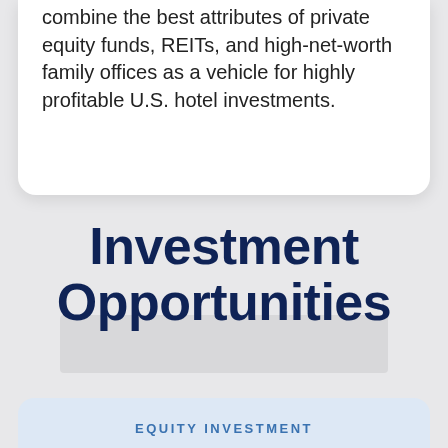combine the best attributes of private equity funds, REITs, and high-net-worth family offices as a vehicle for highly profitable U.S. hotel investments.
Investment Opportunities
EQUITY INVESTMENT